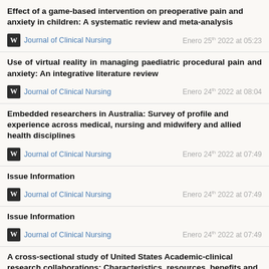Effect of a game-based intervention on preoperative pain and anxiety in children: A systematic review and meta-analysis
Journal of Clinical Nursing — Enero 25th 2022 at 05:23
Use of virtual reality in managing paediatric procedural pain and anxiety: An integrative literature review
Journal of Clinical Nursing — Enero 24th 2022 at 08:04
Embedded researchers in Australia: Survey of profile and experience across medical, nursing and midwifery and allied health disciplines
Journal of Clinical Nursing — Enero 24th 2022 at 07:49
Issue Information
Journal of Clinical Nursing — Enero 24th 2022 at 07:49
Issue Information
Journal of Clinical Nursing — Enero 24th 2022 at 07:49
A cross-sectional study of United States Academic-clinical research collaborations: Characteristics, resources, benefits and outcomes
Journal of Clinical Nursing — Enero 24th 2022 at 07:49
Embedding post-doctoral clinical academic careers in practice: The